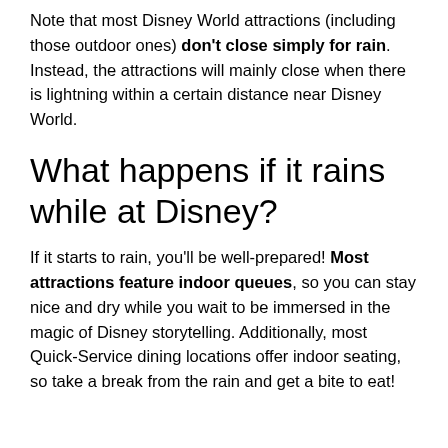Note that most Disney World attractions (including those outdoor ones) don't close simply for rain. Instead, the attractions will mainly close when there is lightning within a certain distance near Disney World.
What happens if it rains while at Disney?
If it starts to rain, you'll be well-prepared! Most attractions feature indoor queues, so you can stay nice and dry while you wait to be immersed in the magic of Disney storytelling. Additionally, most Quick-Service dining locations offer indoor seating, so take a break from the rain and get a bite to eat!